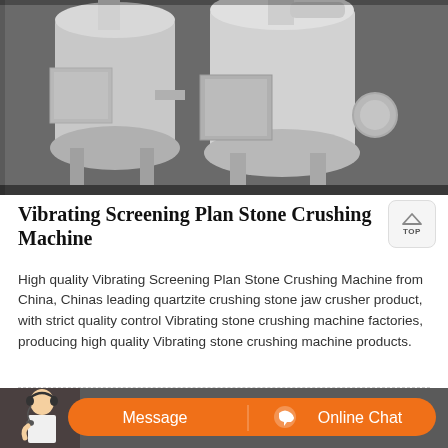[Figure (photo): Industrial stone crushing / vibrating screening machines — large white cylindrical mills with square feed chutes on metal leg frames, photographed in a factory setting]
Vibrating Screening Plan Stone Crushing Machine
High quality Vibrating Screening Plan Stone Crushing Machine from China, Chinas leading quartzite crushing stone jaw crusher product, with strict quality control Vibrating stone crushing machine factories, producing high quality Vibrating stone crushing machine products.
[Figure (photo): Bottom banner showing a customer service representative (woman with headset) on the left, an orange pill-shaped button with 'Message' on the left half and a chat icon plus 'Online Chat' on the right half]